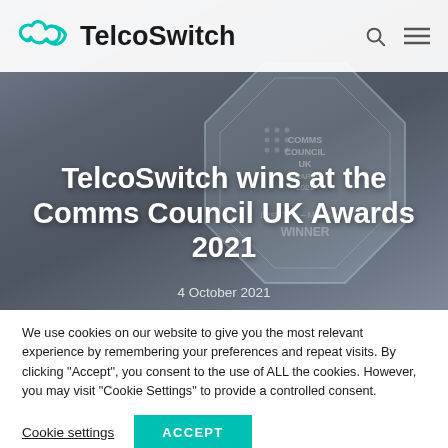TelcoSwitch
[Figure (photo): TelcoSwitch wins at the Comms Council UK Awards 2021 — hero image showing a glass octagonal award trophy with 'Best ITSP – Mid Market WINNER' engraved, overlaid with white bold title text and date]
TelcoSwitch wins at the Comms Council UK Awards 2021
4 October 2021
We use cookies on our website to give you the most relevant experience by remembering your preferences and repeat visits. By clicking "Accept", you consent to the use of ALL the cookies. However, you may visit "Cookie Settings" to provide a controlled consent.